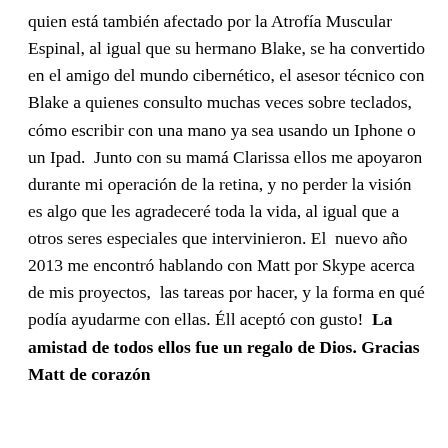quien está también afectado por la Atrofía Muscular Espinal, al igual que su hermano Blake, se ha convertido en el amigo del mundo cibernético, el asesor técnico con Blake a quienes consulto muchas veces sobre teclados, cómo escribir con una mano ya sea usando un Iphone o un Ipad.  Junto con su mamá Clarissa ellos me apoyaron durante mi operación de la retina, y no perder la visión es algo que les agradeceré toda la vida, al igual que a otros seres especiales que intervinieron. El  nuevo año 2013 me encontró hablando con Matt por Skype acerca de mis proyectos,  las tareas por hacer, y la forma en qué podía ayudarme con ellas. Éll aceptó con gusto!  La amistad de todos ellos fue un regalo de Dios. Gracias Matt de corazón